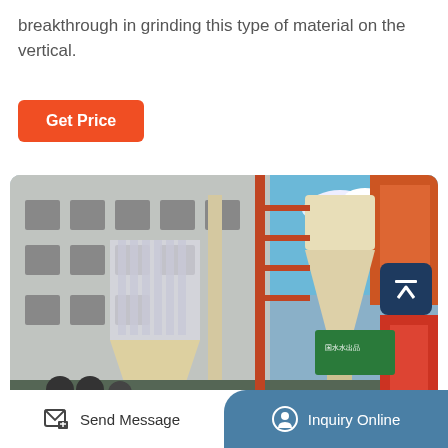breakthrough in grinding this type of material on the vertical.
[Figure (other): Orange rounded-rectangle button labeled 'Get Price']
[Figure (photo): Outdoor industrial grinding mill equipment — two dust collector cyclone units with filter bags and conical hoppers in front of a factory building with blue sky visible on the right side.]
Send Message | Inquiry Online